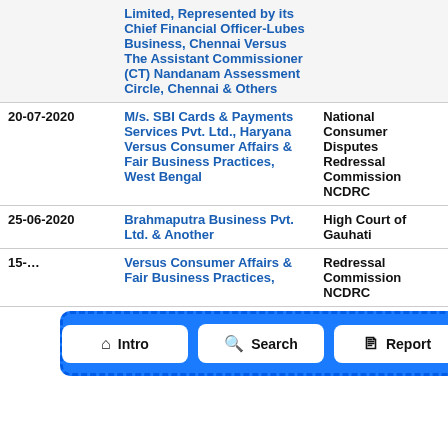| Date | Parties | Court |
| --- | --- | --- |
|  | Limited, Represented by its Chief Financial Officer-Lubes Business, Chennai Versus The Assistant Commissioner (CT) Nandanam Assessment Circle, Chennai & Others |  |
| 20-07-2020 | M/s. SBI Cards & Payments Services Pvt. Ltd., Haryana Versus Consumer Affairs & Fair Business Practices, West Bengal | National Consumer Disputes Redressal Commission NCDRC |
| 25-06-2020 | Brahmaputra Business Pvt. Ltd. & Another | High Court of Gauhati |
| 15-... | Versus Consumer Affairs & Fair Business Practices... | Redressal Commission NCDRC |
[Figure (infographic): Navigation overlay with three buttons: Intro (home icon), Search (magnifying glass icon), Report (document icon)]